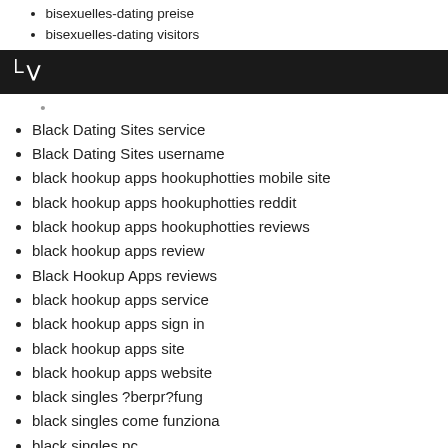bisexuelles-dating preise
bisexuelles-dating visitors
C~
Black Dating Sites service
Black Dating Sites username
black hookup apps hookuphotties mobile site
black hookup apps hookuphotties reddit
black hookup apps hookuphotties reviews
black hookup apps review
Black Hookup Apps reviews
black hookup apps service
black hookup apps sign in
black hookup apps site
black hookup apps website
black singles ?berpr?fung
black singles come funziona
black singles pc
black singles randki
black singles review
black singles sign in
Black Singles visitors
black-dating-cs Reddit
blackchristianpeoplemeet avis
blackchristianpeoplemeet de review
blackchristianpeoplemeet fr review